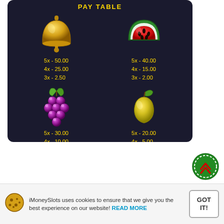[Figure (infographic): Slot machine pay table showing four fruit symbols (bell, watermelon, grapes, pear) with payout multipliers for 5x, 4x, and 3x matches. Bell: 5x-50.00, 4x-25.00, 3x-2.50. Watermelon: 5x-40.00, 4x-15.00, 3x-2.00. Grapes: 5x-30.00, 4x-10.00, 3x-1.50. Pear: 5x-20.00, 4x-5.00, 3x-1.00.]
[Figure (illustration): Green casino chip with red double chevron arrow pointing up, with dashed white border circle — scroll-to-top button.]
iMoneySlots uses cookies to ensure that we give you the best experience on our website! READ MORE
GOT IT!